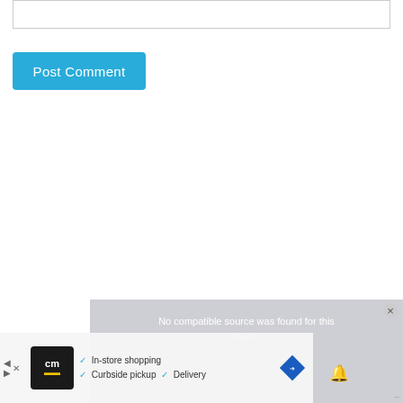[Figure (screenshot): Empty text input box with light gray border at the top of the page]
[Figure (screenshot): Blue 'Post Comment' button with white text and rounded corners]
[Figure (screenshot): Video player overlay with gray background showing 'No compatible source was found for this media.' message and a close button]
[Figure (screenshot): Advertisement bar at bottom with CM logo, in-store shopping options (In-store shopping, Curbside pickup, Delivery), navigation controls, and a route sign icon]